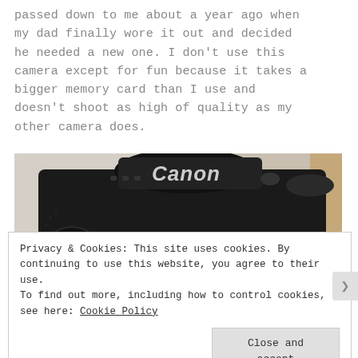passed down to me about a year ago when my dad finally wore it out and decided he needed a new one. I don't use this camera except for fun because it takes a bigger memory card than I use and doesn't shoot as high of quality as my other camera does.
[Figure (photo): Close-up photo of the top of a black Canon EOS 10D DSLR camera body, showing the Canon logo on the top and EOS 10D label on the front.]
Privacy & Cookies: This site uses cookies. By continuing to use this website, you agree to their use. To find out more, including how to control cookies, see here: Cookie Policy

[Close and accept button]